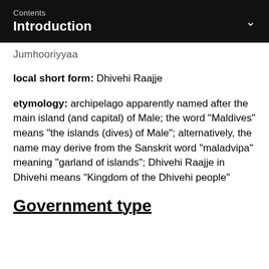Contents
Introduction
Jumhooriyyaa
local short form: Dhivehi Raajje
etymology: archipelago apparently named after the main island (and capital) of Male; the word "Maldives" means "the islands (dives) of Male"; alternatively, the name may derive from the Sanskrit word "maladvipa" meaning "garland of islands"; Dhivehi Raajje in Dhivehi means "Kingdom of the Dhivehi people"
Government type